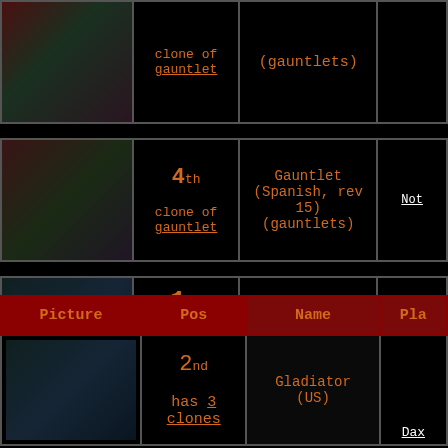| Picture | Pos | Name | Pla... |
| --- | --- | --- | --- |
| [screenshot] | clone of
gauntlet | (gauntlets) |  |
| [screenshot] | 4th
clone of
gauntlet | Gauntlet (Spanish, rev 15)
(gauntlets) | Not... |
| [screenshot] | 1st
has 3 clones
special rules | Gladiator (US)
(gladiatr) | MORENO... |
| Picture | Pos | Name | Pla... |
| --- | --- | --- | --- |
| [screenshot] | 2nd
has 3 clones | Gladiator (US) | Dax... |